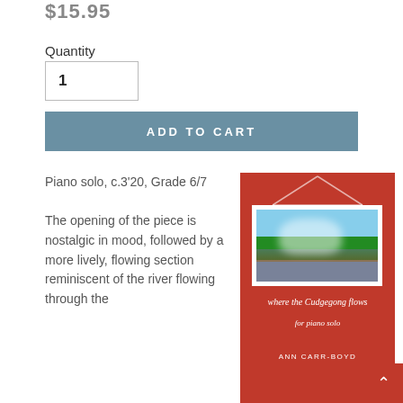$15.95
Quantity
1
ADD TO CART
Piano solo, c.3'20, Grade 6/7
The opening of the piece is nostalgic in mood, followed by a more lively, flowing section reminiscent of the river flowing through the
[Figure (illustration): Book cover for 'where the Cudgegong flows for piano solo' by Ann Carr-Boyd. Red background with a photo of a river scene framed like a hanging picture, italic white text subtitle and author name.]